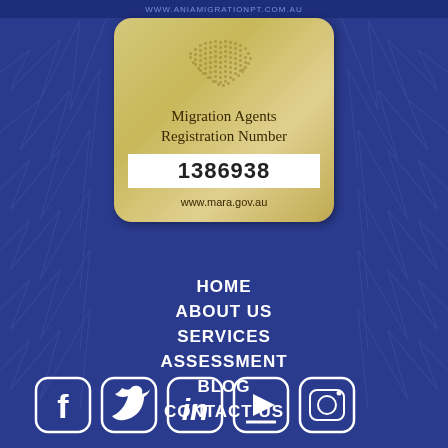WWW.ANIAMIGRATIONPT.COM.AU
[Figure (logo): Migration Agents Registration Number badge with gold/beige background, Australia map dot graphic, registration number 1386938, and website www.mara.gov.au]
HOME
ABOUT US
SERVICES
ASSESSMENT
BLOG
CONTACT US
[Figure (illustration): Row of social media icons in white outline style: Facebook, Twitter, LinkedIn, YouTube, Instagram]